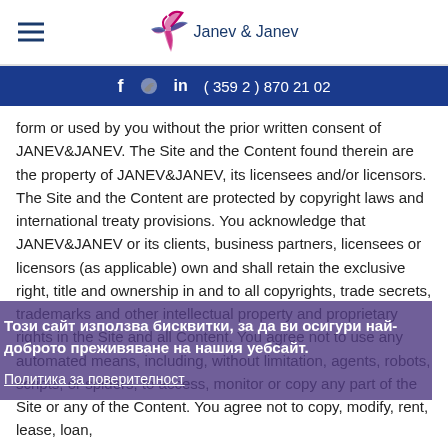Janev & Janev (logo with hamburger menu)
f [bird icon] in ( 359 2 ) 870 21 02
form or used by you without the prior written consent of JANEV&JANEV. The Site and the Content found therein are the property of JANEV&JANEV, its licensees and/or licensors. The Site and the Content are protected by copyright laws and international treaty provisions. You acknowledge that JANEV&JANEV or its clients, business partners, licensees or licensors (as applicable) own and shall retain the exclusive right, title and ownership in and to all copyrights, trade secrets, trademarks and other intellectual property and proprietary rights in the Site and all Content. You agree not to use any automated means, including, without limitation, agents, robots, scripts, or spiders, to access, monitor or copy any part of the Site or any of the Content. You agree not to copy, modify, rent, lease, loan,
Този сайт използва бисквитки, за да ви осигури най-доброто преживяване на нашия уебсайт.
Политика за поверителност
Приемам